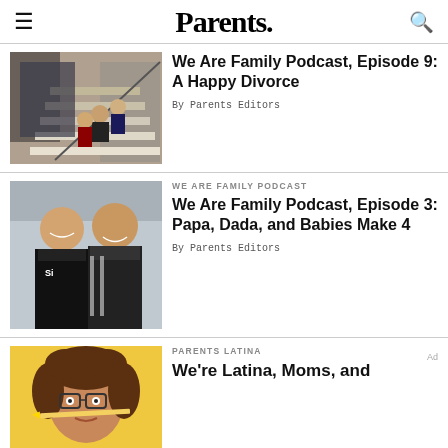Parents.
[Figure (photo): Family sitting on grand staircase with ornate railing]
We Are Family Podcast, Episode 9: A Happy Divorce
By Parents Editors
WE ARE FAMILY PODCAST
[Figure (photo): Two men smiling, wearing athletic jackets]
We Are Family Podcast, Episode 3: Papa, Dada, and Babies Make 4
By Parents Editors
PARENTS LATINA
[Figure (photo): Young girl with curly hair holding a pencil to her lips]
We're Latina, Moms, and
[Figure (photo): PediaSure advertisement: mix it up to HELP KIDS GROW - BUY NOW]